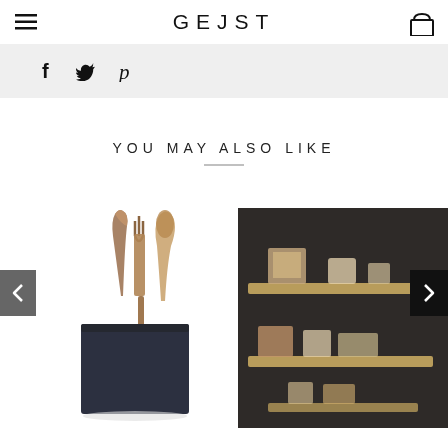GEJST
[Figure (screenshot): Social share icons: Facebook (f), Twitter (bird), Pinterest (p)]
YOU MAY ALSO LIKE
[Figure (photo): Kitchen utensil holder - dark navy/black rectangular container holding wooden cooking utensils]
[Figure (photo): Wall shelves with items on them against a dark background, showing wooden shelves with mugs and decorative items]